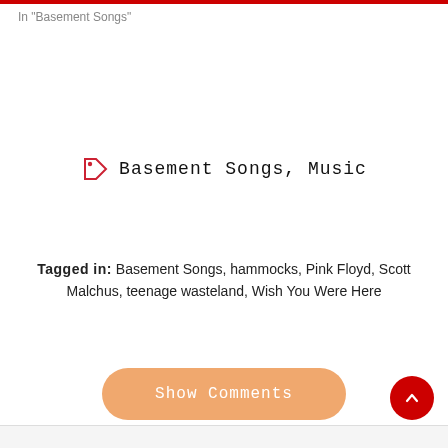In "Basement Songs"
Basement Songs, Music
Tagged in: Basement Songs, hammocks, Pink Floyd, Scott Malchus, teenage wasteland, Wish You Were Here
Show Comments
Share Article:
[Figure (infographic): Four social share buttons: Facebook (blue circle), Twitter (light blue circle), Email (red circle), WhatsApp (green circle)]